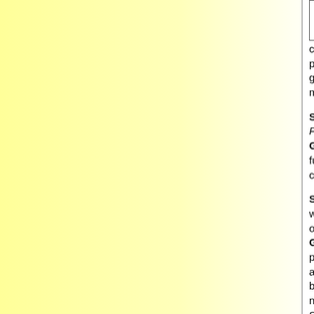[Figure (illustration): A blank/white image box at the top of the right column, partially visible]
revenge, no... that goes in... clad in dark colors (that really represents "li... people. He is the Dark KNIGHT. That errant... gotten lost and everyone seems to concentr... make the character a selfish narcissistic nu...
Scoop: What did you like about working on... Phantom Sunday strip?
GN: The Phantom is a great character and ... fun working on him. He was my Mom's favo... character growing up.
Scoop: How is working on a Sunday strip d... working on a monthly comic? Does one pre... of a challenge than the other?
GN: The biggest difference is the format. A ... page is a blank canvas that you can layout ... any which way that works. Comic strips hav... breaks and tiers that have to be adhered to... newspapers cut them up to fit the formats o... Sunday comics pages. Much more freedom... book page.
[Figure (illustration): A blank/white image box at the bottom of the right column, partially visible]
Scoop: Wh... favorite par... more futuris...
GN: The fu... established...